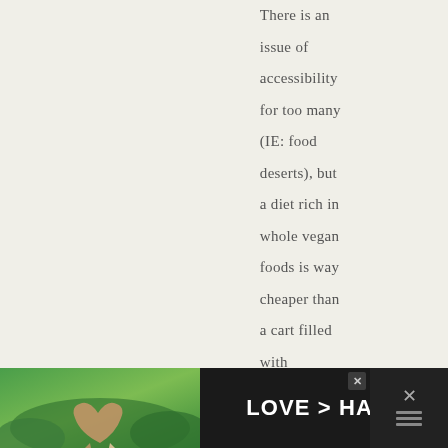There is an issue of accessibility for too many (IE: food deserts), but a diet rich in whole vegan foods is way cheaper than a cart filled with
[Figure (photo): Advertisement banner at bottom of page showing hands forming a heart shape against a green outdoor background, with text 'LOVE > HATE' in white bold letters on dark background. Has an X close button and a menu icon on the right.]